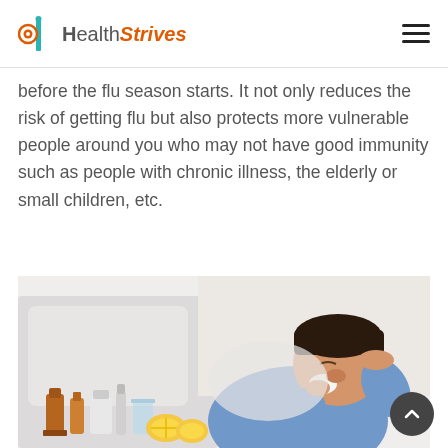HealthStrives
before the flu season starts. It not only reduces the risk of getting flu but also protects more vulnerable people around you who may not have good immunity such as people with chronic illness, the elderly or small children, etc.
[Figure (photo): A sick man lying in bed holding a tissue to his nose with one hand and holding his forehead with the other hand, surrounded by medicine bottles and lemons on a bedside table.]